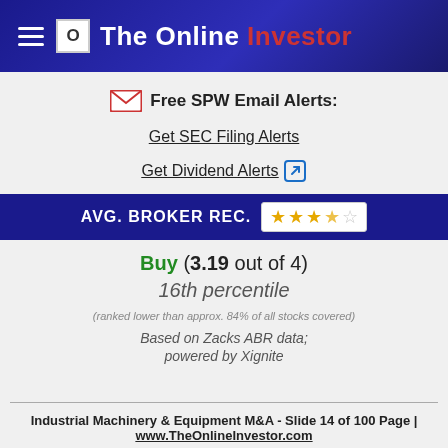The Online Investor
Free SPW Email Alerts:
Get SEC Filing Alerts
Get Dividend Alerts
AVG. BROKER REC.
Buy (3.19 out of 4)
16th percentile
(ranked lower than approx. 84% of all stocks covered)
Based on Zacks ABR data;
powered by Xignite
Industrial Machinery & Equipment M&A - Slide 14 of 100 Page | www.TheOnlineInvestor.com
Copyright © 1998 - 2022, All Rights Reserved